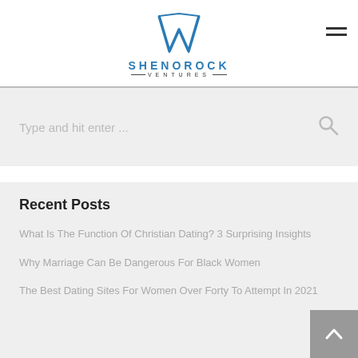[Figure (logo): Shenorock Ventures logo with blue geometric W/V shape above the text SHENOROCK VENTURES]
SHENOROCK
—VENTURES—
Type and hit enter ...
Recent Posts
What Is The Function Of Christian Dating? 3 Surprising Insights
Why Marriage Can Be Dangerous For Black Women
The Best Dating Sites For Women Over Forty To Attempt In 2021